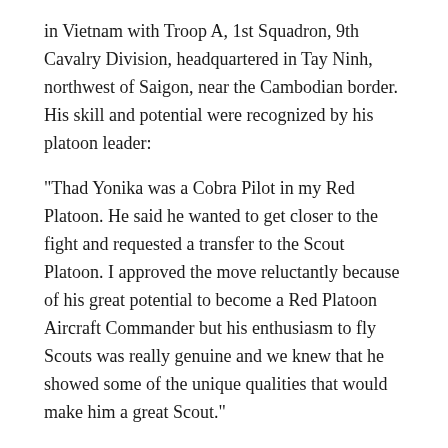in Vietnam with Troop A, 1st Squadron, 9th Cavalry Division, headquartered in Tay Ninh, northwest of Saigon, near the Cambodian border. His skill and potential were recognized by his platoon leader:
“Thad Yonika was a Cobra Pilot in my Red Platoon. He said he wanted to get closer to the fight and requested a transfer to the Scout Platoon. I approved the move reluctantly because of his great potential to become a Red Platoon Aircraft Commander but his enthusiasm to fly Scouts was really genuine and we knew that he showed some of the unique qualities that would make him a great Scout.”
WO Yonika was assigned to fly a Cayuse Light Observation Helicopter. His job was to fly over suspected enemy locations to get shot at. His crew would mark the location of the source of the fire; attack helicopters such as Cobras would swoop in to destroy the enemy.
The Cayuse had the reputation of being able to take a lot of